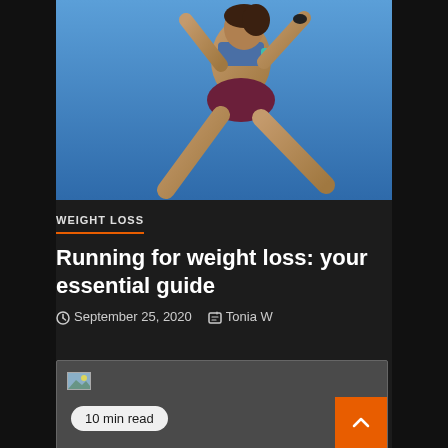[Figure (photo): A woman runner jumping in the air against a clear blue sky, wearing a blue sports top, teal armband, and dark red/maroon shorts, shot from a low angle]
WEIGHT LOSS
Running for weight loss: your essential guide
September 25, 2020   Tonia W
[Figure (other): Content block with small image placeholder and 10 min read badge]